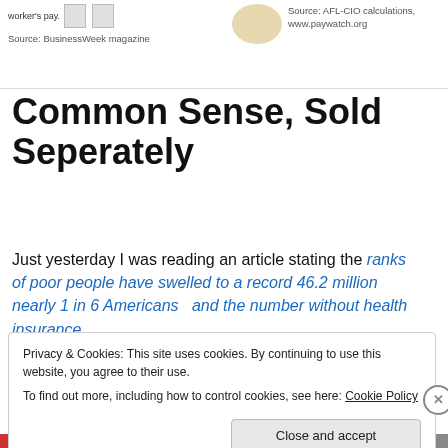worker's pay.    Source: BusinessWeek magazine
Source: AFL-CIO calculations, www.paywatch.org
Common Sense, Sold Seperately
Just yesterday I was reading an article stating the ranks of poor people have swelled to a record 46.2 million nearly 1 in 6 Americans  and the number without health insurance
Privacy & Cookies: This site uses cookies. By continuing to use this website, you agree to their use.
To find out more, including how to control cookies, see here: Cookie Policy
Close and accept